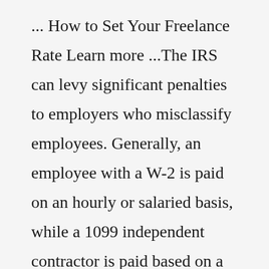... How to Set Your Freelance Rate Learn more ...The IRS can levy significant penalties to employers who misclassify employees. Generally, an employee with a W-2 is paid on an hourly or salaried basis, while a 1099 independent contractor is paid based on a contract that has a defined end, although the duration of employment can last anywhere from several weeks to years. Typically, a 1099 ...Employers are responsible for some payroll taxes for W2